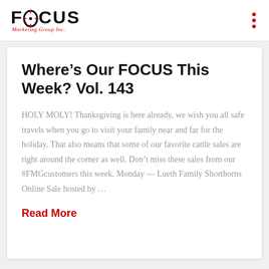[Figure (logo): FOCUS Marketing Group Inc. logo with crosshair in the O]
Where’s Our FOCUS This Week? Vol. 143
HOLY MOLY! Thanksgiving is here already, we wish you all safe travels when you go to visit your family near and far for the holiday. That also means that some of our favorite cattle sales are right around the corner as well. Don’t miss these sales from our #FMGcustomers this week. Monday — Lueth Family Shorthorns Online Sale hosted by …
Read More